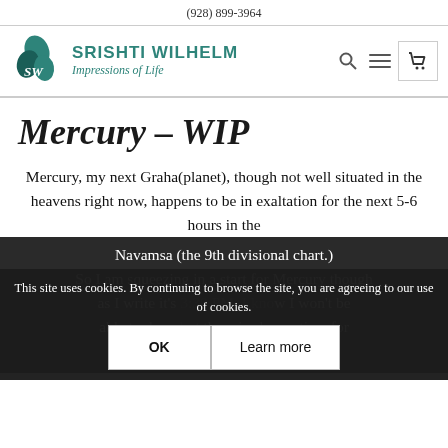(928) 899-3964
[Figure (logo): Srishti Wilhelm logo with stylized SW leaf icon and text 'SRISHTI WILHELM Impressions of Life']
Mercury – WIP
Mercury, my next Graha(planet), though not well situated in the heavens right now, happens to be in exaltation for the next 5-6 hours in the Navamsa (the 9th divisional chart.) So I am squeezing in a start for Mercury though as I write it's 3:30 PM. I know I won't be able to draw but there is always time for
This site uses cookies. By continuing to browse the site, you are agreeing to our use of cookies.